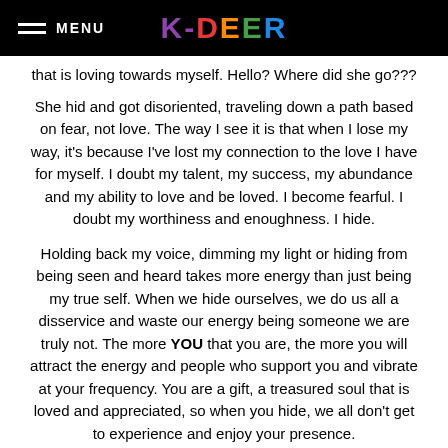MENU  K-DEER
that is loving towards myself. Hello? Where did she go???
She hid and got disoriented, traveling down a path based on fear, not love. The way I see it is that when I lose my way, it's because I've lost my connection to the love I have for myself. I doubt my talent, my success, my abundance and my ability to love and be loved. I become fearful. I doubt my worthiness and enoughness. I hide.
Holding back my voice, dimming my light or hiding from being seen and heard takes more energy than just being my true self. When we hide ourselves, we do us all a disservice and waste our energy being someone we are truly not. The more YOU that you are, the more you will attract the energy and people who support you and vibrate at your frequency. You are a gift, a treasured soul that is loved and appreciated, so when you hide, we all don't get to experience and enjoy your presence.
Sometimes, when my depression creeps up, I don't notice the